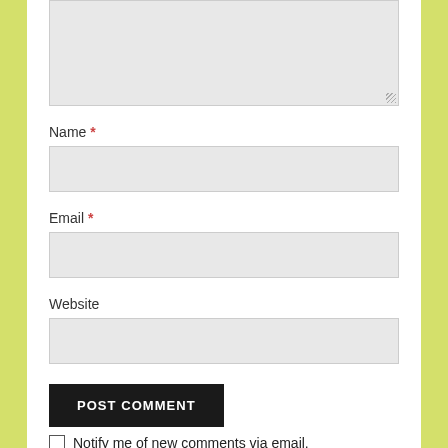[Figure (screenshot): A text area input box with light gray background and resize handle at bottom right]
Name *
[Figure (screenshot): Name input field, light gray background, empty]
Email *
[Figure (screenshot): Email input field, light gray background, empty]
Website
[Figure (screenshot): Website input field, light gray background, empty]
POST COMMENT
Notify me of new comments via email.